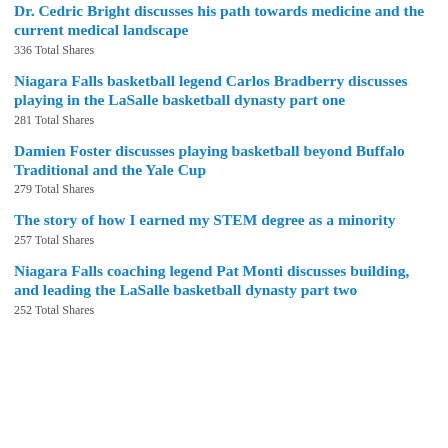Dr. Cedric Bright discusses his path towards medicine and the current medical landscape
336 Total Shares
Niagara Falls basketball legend Carlos Bradberry discusses playing in the LaSalle basketball dynasty part one
281 Total Shares
Damien Foster discusses playing basketball beyond Buffalo Traditional and the Yale Cup
279 Total Shares
The story of how I earned my STEM degree as a minority
257 Total Shares
Niagara Falls coaching legend Pat Monti discusses building, and leading the LaSalle basketball dynasty part two
252 Total Shares